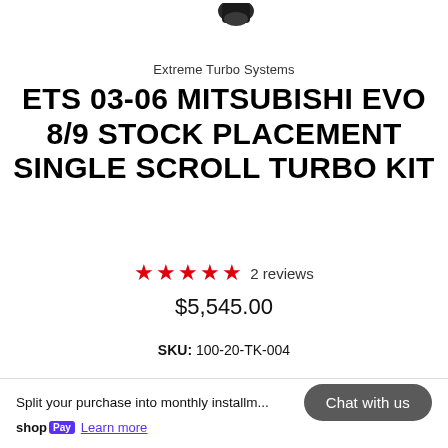[Figure (photo): Partial product photo of a turbo kit component, cropped at top of page]
Extreme Turbo Systems
ETS 03-06 MITSUBISHI EVO 8/9 STOCK PLACEMENT SINGLE SCROLL TURBO KIT
★★★★★ 2 reviews
$5,545.00
SKU: 100-20-TK-004
Split your purchase into monthly installments
shop Pay Learn more